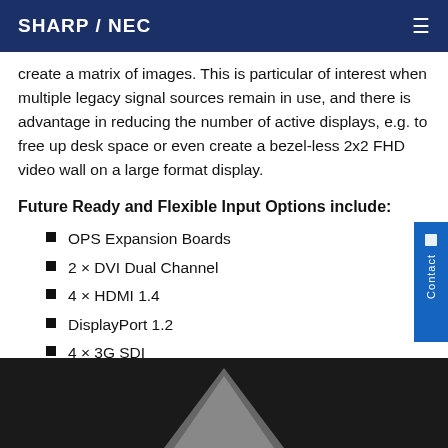SHARP / NEC
create a matrix of images. This is particular of interest when multiple legacy signal sources remain in use, and there is advantage in reducing the number of active displays, e.g. to free up desk space or even create a bezel-less 2x2 FHD video wall on a large format display.
Future Ready and Flexible Input Options include:
OPS Expansion Boards
2 × DVI Dual Channel
4 × HDMI 1.4
DisplayPort 1.2
4 × 3G SDI
[Figure (photo): Dark background photo showing a display product, partially visible at bottom of page with a triangular/trapezoidal shape visible]